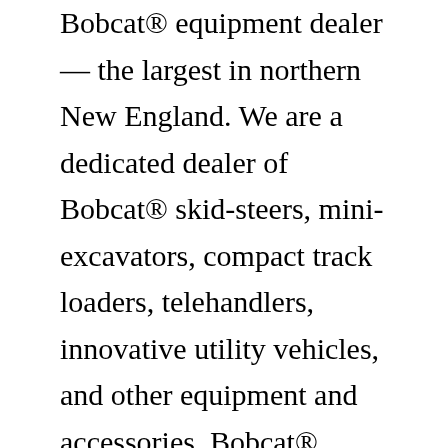Bobcat® equipment dealer — the largest in northern New England. We are a dedicated dealer of Bobcat® skid-steers, mini-excavators, compact track loaders, telehandlers, innovative utility vehicles, and other equipment and accessories. Bobcat® Southwest with locations in California & Nevada, featuring new and used Bobcat® Equipment for sale, service, and parts near San Diego & Los Angeles Bobcat of Mandan is a certified Bobcat equipment